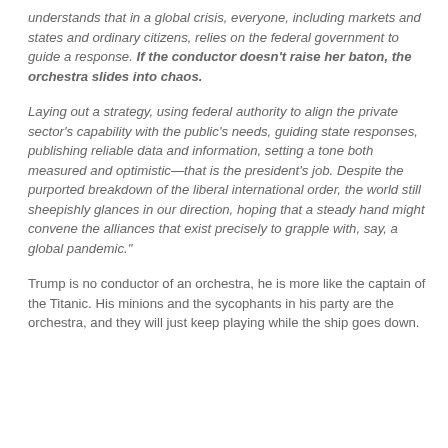understands that in a global crisis, everyone, including markets and states and ordinary citizens, relies on the federal government to guide a response. If the conductor doesn't raise her baton, the orchestra slides into chaos.
Laying out a strategy, using federal authority to align the private sector's capability with the public's needs, guiding state responses, publishing reliable data and information, setting a tone both measured and optimistic—that is the president's job. Despite the purported breakdown of the liberal international order, the world still sheepishly glances in our direction, hoping that a steady hand might convene the alliances that exist precisely to grapple with, say, a global pandemic."
Trump is no conductor of an orchestra, he is more like the captain of the Titanic. His minions and the sycophants in his party are the orchestra, and they will just keep playing while the ship goes down.